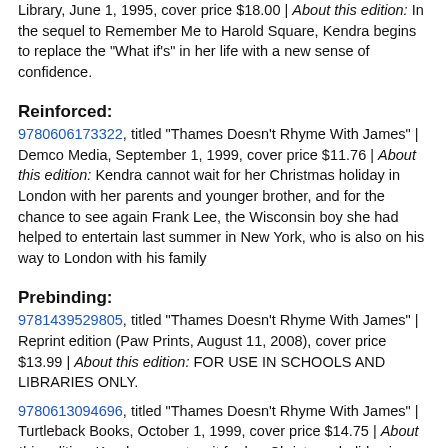Library, June 1, 1995, cover price $18.00 | About this edition: In the sequel to Remember Me to Harold Square, Kendra begins to replace the "What if's" in her life with a new sense of confidence.
Reinforced:
9780606173322, titled "Thames Doesn't Rhyme With James" | Demco Media, September 1, 1999, cover price $11.76 | About this edition: Kendra cannot wait for her Christmas holiday in London with her parents and younger brother, and for the chance to see again Frank Lee, the Wisconsin boy she had helped to entertain last summer in New York, who is also on his way to London with his family
Prebinding:
9781439529805, titled "Thames Doesn't Rhyme With James" | Reprint edition (Paw Prints, August 11, 2008), cover price $13.99 | About this edition: FOR USE IN SCHOOLS AND LIBRARIES ONLY.
9780613094696, titled "Thames Doesn't Rhyme With James" | Turtleback Books, October 1, 1999, cover price $14.75 | About this edition: Kendra cannot wait for her Christmas holiday in London with her parents and younger brother, and for the chance to see again Frank Lee, the Wisconsin boy she had helped to entertain last summer in New York, who is also on his way to London with his family